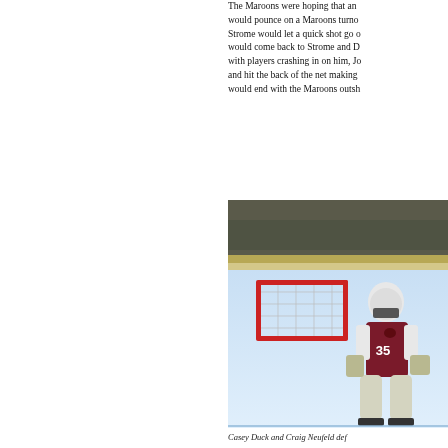The Maroons were hoping that an would pounce on a Maroons turno Strome would let a quick shot go o would come back to Strome and D with players crashing in on him, Jo and hit the back of the net making would end with the Maroons outsh
[Figure (photo): Hockey goalie wearing jersey number 35 in maroon and white uniform crouching in front of a red hockey net on an ice rink]
Casey Duck and Craig Neufeld def...